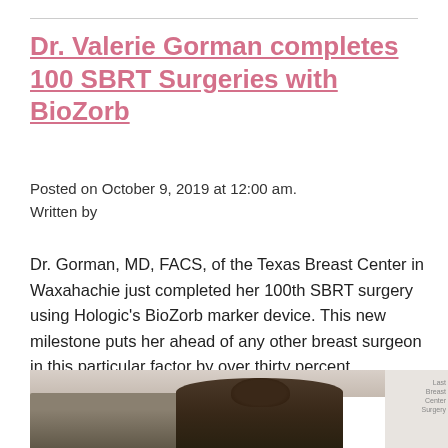Dr. Valerie Gorman completes 100 SBRT Surgeries with BioZorb
Posted on October 9, 2019 at 12:00 am.
Written by
Dr. Gorman, MD, FACS, of the Texas Breast Center in Waxahachie just completed her 100th SBRT surgery using Hologic's BioZorb marker device. This new milestone puts her ahead of any other breast surgeon in this particular factor by over thirty percent.
[Figure (photo): Photo of people at an event, including a person with dark hair and glasses in the center, partial view of another person on left, and a white panel/banner on the right edge.]